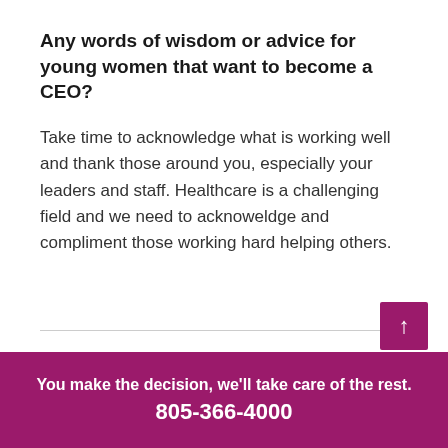Any words of wisdom or advice for young women that want to become a CEO?
Take time to acknowledge what is working well and thank those around you, especially your leaders and staff. Healthcare is a challenging field and we need to acknoweldge and compliment those working hard helping others.
You make the decision, we'll take care of the rest. 805-366-4000